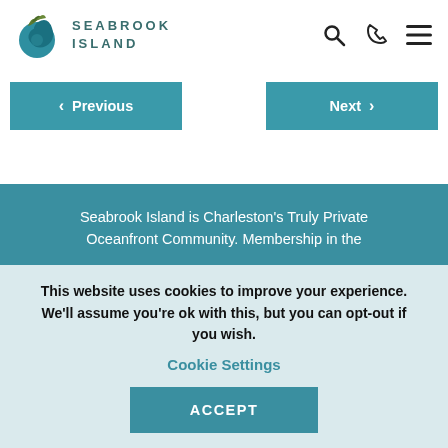SEABROOK ISLAND
Previous
Next
Seabrook Island is Charleston's Truly Private Oceanfront Community. Membership in the
This website uses cookies to improve your experience. We'll assume you're ok with this, but you can opt-out if you wish.
Cookie Settings
ACCEPT